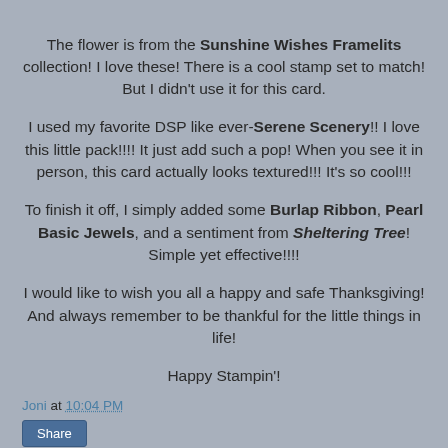The flower is from the Sunshine Wishes Framelits collection! I love these! There is a cool stamp set to match! But I didn't use it for this card.
I used my favorite DSP like ever-Serene Scenery!! I love this little pack!!!! It just add such a pop! When you see it in person, this card actually looks textured!!! It's so cool!!!
To finish it off, I simply added some Burlap Ribbon, Pearl Basic Jewels, and a sentiment from Sheltering Tree! Simple yet effective!!!!
I would like to wish you all a happy and safe Thanksgiving! And always remember to be thankful for the little things in life!
Happy Stampin'!
Joni at 10:04 PM  Share